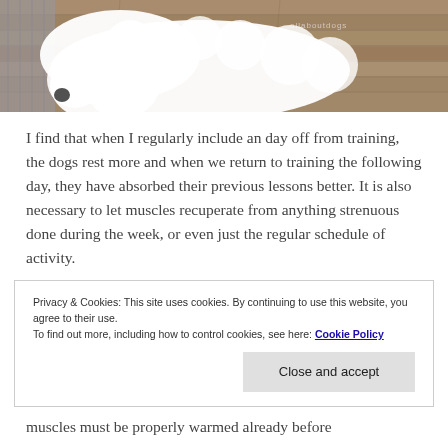[Figure (photo): A fluffy white dog lying on a wooden floor, viewed from above. The dog appears to be a large breed with curly white fur. A watermark reads 'allaboutdogs' in the upper right area of the image.]
I find that when I regularly include an day off from training, the dogs rest more and when we return to training the following day, they have absorbed their previous lessons better. It is also necessary to let muscles recuperate from anything strenuous done during the week, or even just the regular schedule of activity.
Privacy & Cookies: This site uses cookies. By continuing to use this website, you agree to their use.
To find out more, including how to control cookies, see here: Cookie Policy
[Close and accept]
muscles must be properly warmed already before